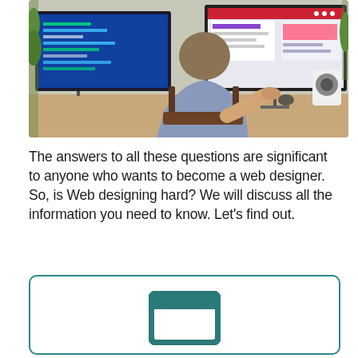[Figure (photo): A man sitting at a desk viewed from behind, working on two large computer monitors. The left monitor shows code/programming interface and the right shows a website design. There is a speaker, plant, and mouse on the desk.]
The answers to all these questions are significant to anyone who wants to become a web designer. So, is Web designing hard? We will discuss all the information you need to know. Let's find out.
[Figure (other): A rounded rectangle box outline with a teal/dark cyan border, containing a centered teal rectangle icon (browser/window icon) in the upper portion.]